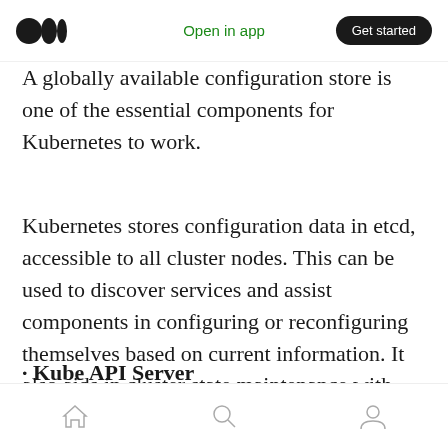Open in app | Get started
A globally available configuration store is one of the essential components for Kubernetes to work.
Kubernetes stores configuration data in etcd, accessible to all cluster nodes. This can be used to discover services and assist components in configuring or reconfiguring themselves based on current information. It also aids in cluster state maintenance with leader election and distributed locking features.
· Kube API Server
Home | Search | Profile